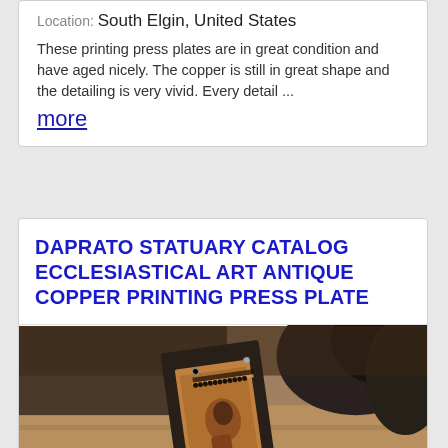Location: South Elgin, United States
These printing press plates are in great condition and have aged nicely. The copper is still in great shape and the detailing is very vivid. Every detail ...
more
DAPRATO STATUARY CATALOG ECCLESIASTICAL ART ANTIQUE COPPER PRINTING PRESS PLATE
[Figure (photo): Close-up photograph of an antique copper printing press plate mounted on a dark wooden block, showing detailed ecclesiastical engravings. The copper surface shows aged patina with detailed figurative religious art. A dark sculptural object is partially visible in the upper right corner.]